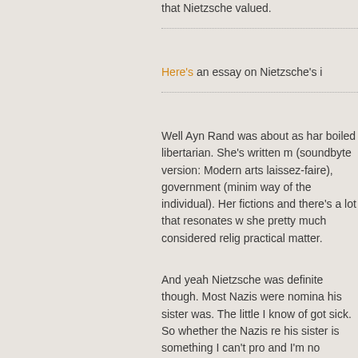that Nietzsche valued.
Here's an essay on Nietzsche's i
Well Ayn Rand was about as har boiled libertarian. She's written m (soundbyte version: Modern arts laissez-faire), government (minim way of the individual). Her fictions and there's a lot that resonates w she pretty much considered relig practical matter.
And yeah Nietzsche was definite though. Most Nazis were nomina his sister was. The little I know of got sick. So whether the Nazis re his sister is something I can't pro and I'm no historian.